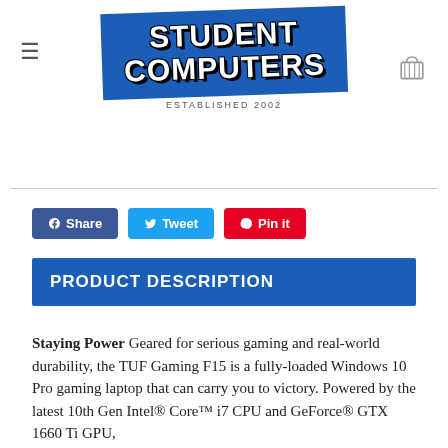Student Computers — ESTABLISHED 2002
Share  Tweet  Pin it
PRODUCT DESCRIPTION
Staying Power Geared for serious gaming and real-world durability, the TUF Gaming F15 is a fully-loaded Windows 10 Pro gaming laptop that can carry you to victory. Powered by the latest 10th Gen Intel® Core™ i7 CPU and GeForce® GTX 1660 Ti GPU,